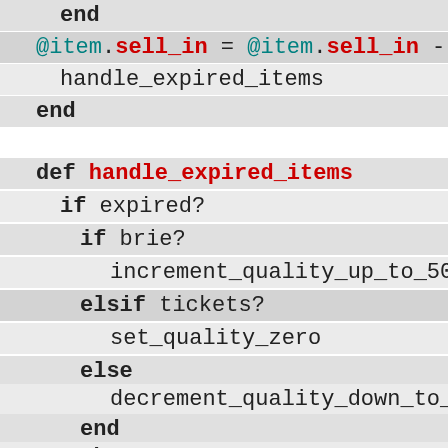end
@item.sell_in = @item.sell_in - 1
handle_expired_items
end
def handle_expired_items
if expired?
if brie?
increment_quality_up_to_50
elsif tickets?
set_quality_zero
else
decrement_quality_down_to_zero
end
end
end